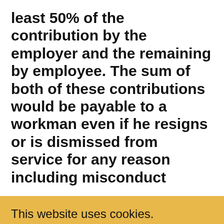least 50% of the contribution by the employer and the remaining by employee. The sum of both of these contributions would be payable to a workman even if he resigns or is dismissed from service for any reason including misconduct
This website uses cookies.
We use cookies to analyze website traffic and optimize your website experience. By accepting our use of cookies, your data will be aggregated with all other user data.
ACCEPT